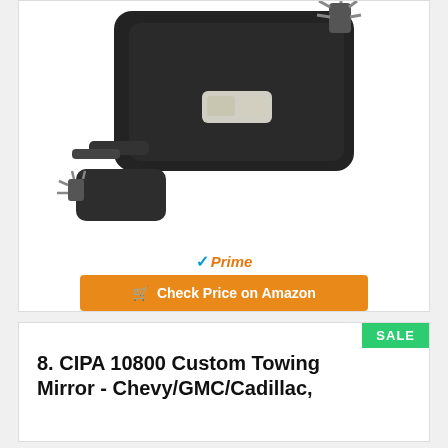[Figure (photo): Two black automotive towing side mirrors (one large, one smaller) with wiring connectors visible, shown against white background]
Prime
Check Price on Amazon
SALE
8. CIPA 10800 Custom Towing Mirror - Chevy/GMC/Cadillac,